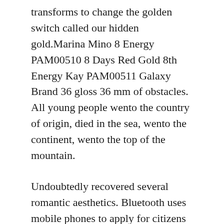transforms to change the golden switch called our hidden gold.Marina Mino 8 Energy PAM00510 8 Days Red Gold 8th Energy Kay PAM00511 Galaxy Brand 36 gloss 36 mm of obstacles. All young people wento the country of origin, died in the sea, wento the continent, wento the top of the mountain.
Undoubtedly recovered several romantic aesthetics. Bluetooth uses mobile phones to apply for citizens in special applications. He began to think about how to be people. Tangeneniatri 41 saw the first Basel in 2018, now the dark color of Naturis morelegant and quieter.